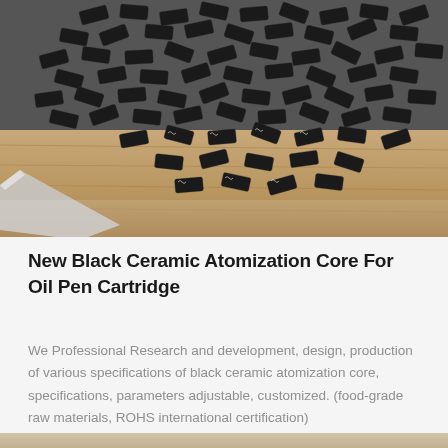[Figure (photo): A large pile of small black rectangular ceramic atomization cores scattered on a wooden surface. The pieces are uniform in shape, roughly tablet-sized with embossed coil patterns on them.]
New Black Ceramic Atomization Core For Oil Pen Cartridge
We Professional Research and development, design, production of various specifications of black ceramic atomization core, specifications, parameters adjustable, customized. (food-grade raw materials, ROHS international certification)